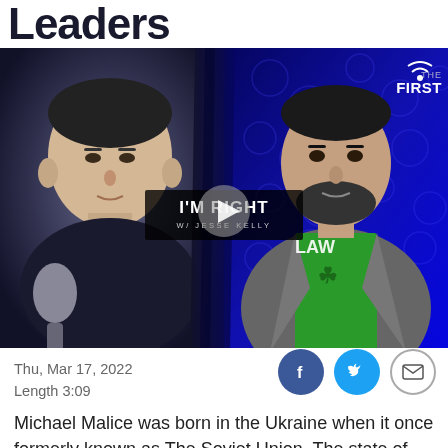Leaders
[Figure (screenshot): Split-screen video thumbnail showing two men on a show called 'I'm Right with Jesse Kelly' on The First network. Left side shows a man in a dark setting with a microphone, right side shows a man in a green shirt and gray blazer against a blue studio background. A play button circle is visible in the center.]
Thu, Mar 17, 2022
Length 3:09
Michael Malice was born in the Ukraine when it once formerly known as The Soviet Union. The state of American politics is so miserable, politicians seem more interested in starting